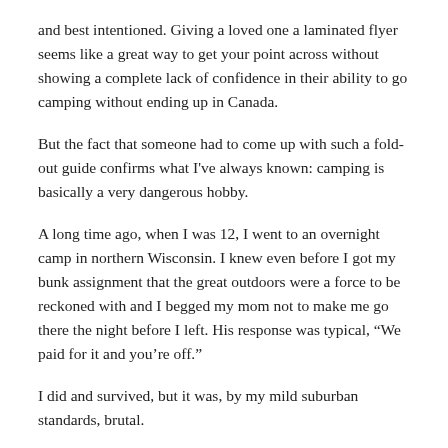and best intentioned. Giving a loved one a laminated flyer seems like a great way to get your point across without showing a complete lack of confidence in their ability to go camping without ending up in Canada.
But the fact that someone had to come up with such a fold-out guide confirms what I've always known: camping is basically a very dangerous hobby.
A long time ago, when I was 12, I went to an overnight camp in northern Wisconsin. I knew even before I got my bunk assignment that the great outdoors were a force to be reckoned with and I begged my mom not to make me go there the night before I left. His response was typical, “We paid for it and you’re off.”
I did and survived, but it was, by my mild suburban standards, brutal.
The counselors had us do all sorts of survival activities “just in case” our canoes capsized or we caught poison ivy or lost our bag of supplies and had to live off the land until we let’s be rescued. Never having given much thought to surviving anything other than a sweat